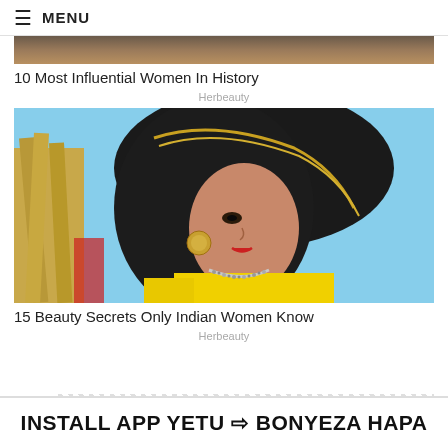≡ MENU
[Figure (photo): Partial top of a photo showing women, cropped at top]
10 Most Influential Women In History
Herbeauty
[Figure (photo): Portrait of an Indian woman wearing a black headscarf with gold trim and a yellow outfit with a silver necklace, against a blue sky background]
15 Beauty Secrets Only Indian Women Know
Herbeauty
INSTALL APP YETU ⇒ BONYEZA HAPA